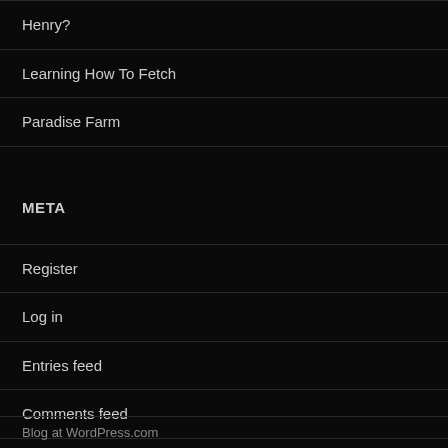Henry?
Learning How To Fetch
Paradise Farm
META
Register
Log in
Entries feed
Comments feed
WordPress.com
Blog at WordPress.com